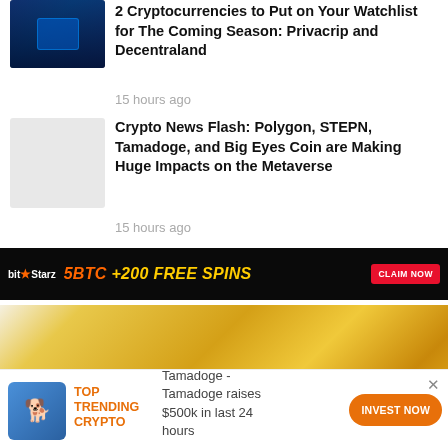[Figure (photo): Thumbnail image with dark blue gaming/crypto themed background]
2 Cryptocurrencies to Put on Your Watchlist for The Coming Season: Privacrip and Decentraland
15 hours ago
[Figure (photo): Light grey placeholder thumbnail]
Crypto News Flash: Polygon, STEPN, Tamadoge, and Big Eyes Coin are Making Huge Impacts on the Metaverse
15 hours ago
[Figure (infographic): BitStarz casino advertisement banner: 5BTC +200 FREE SPINS with CLAIM NOW button]
[Figure (infographic): Gold/yellow gradient banner advertisement]
TOP TRENDING CRYPTO
Tamadoge - Tamadoge raises $500k in last 24 hours
INVEST NOW